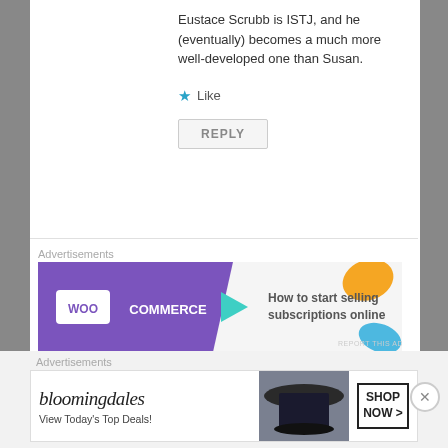Eustace Scrubb is ISTJ, and he (eventually) becomes a much more well-developed one than Susan.
Like
REPLY
Advertisements
[Figure (other): WooCommerce advertisement banner: purple left section with WooCommerce logo and teal arrow, white right section with text 'How to start selling subscriptions online' and orange/blue decorative shapes]
jessica prescott
7th Jan 2016 at 19:32
Advertisements
[Figure (other): Bloomingdale's advertisement banner: logo on left with 'View Today's Top Deals!', woman in hat photo in center, 'SHOP NOW >' button on right]